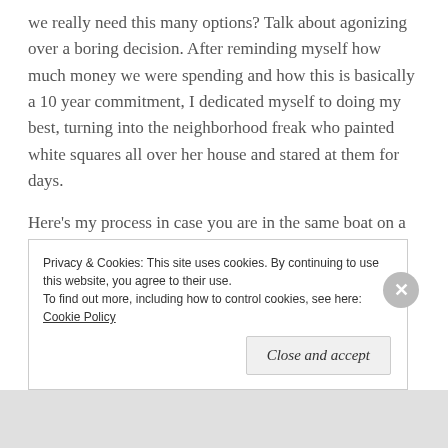we really need this many options? Talk about agonizing over a boring decision. After reminding myself how much money we were spending and how this is basically a 10 year commitment, I dedicated myself to doing my best, turning into the neighborhood freak who painted white squares all over her house and stared at them for days.
Here's my process in case you are in the same boat on a sea of tedium:
Search for exteriors you like. I've been gathering exterior inspirations on Pinterest for the past year
Privacy & Cookies: This site uses cookies. By continuing to use this website, you agree to their use. To find out more, including how to control cookies, see here: Cookie Policy